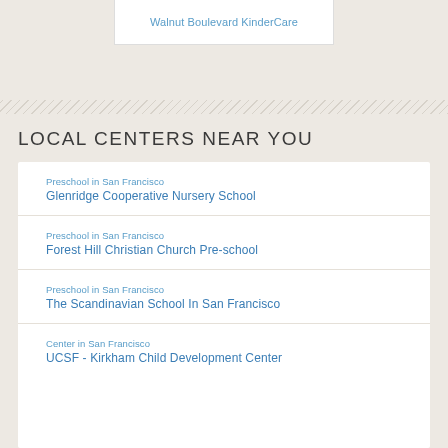Walnut Boulevard KinderCare
LOCAL CENTERS NEAR YOU
Preschool in San Francisco
Glenridge Cooperative Nursery School
Preschool in San Francisco
Forest Hill Christian Church Pre-school
Preschool in San Francisco
The Scandinavian School In San Francisco
Center in San Francisco
UCSF - Kirkham Child Development Center